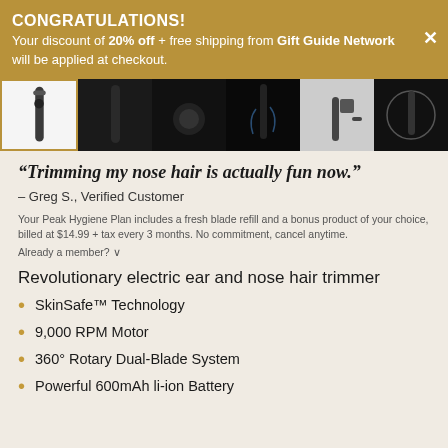CONGRATULATIONS! Your discount of 20% off + free shipping from Gift Guide Network will be applied at checkout.
[Figure (photo): Strip of 6 product thumbnail images of an electric nose/ear hair trimmer in various angles and lighting]
“Trimming my nose hair is actually fun now.”
– Greg S., Verified Customer
Your Peak Hygiene Plan includes a fresh blade refill and a bonus product of your choice, billed at $14.99 + tax every 3 months. No commitment, cancel anytime.
Already a member? ∨
Revolutionary electric ear and nose hair trimmer
SkinSafe™ Technology
9,000 RPM Motor
360° Rotary Dual-Blade System
Powerful 600mAh li-ion Battery